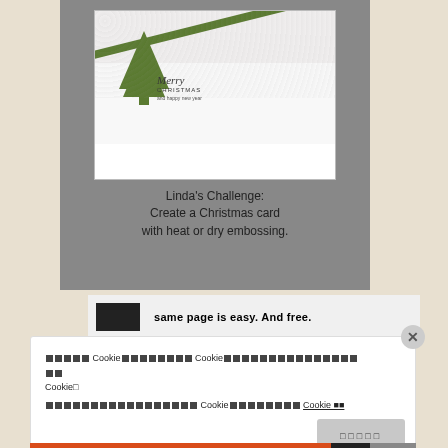[Figure (photo): A Christmas card with a green embossed tree on white textured paper with 'Merry Christmas and Happy New Year' text, displayed on a gray background with caption.]
Linda's Challenge: Create a Christmas card with heat or dry embossing.
same page is easy. And free.
Cookie Cookie Cookie
Cookie Cookie 政策